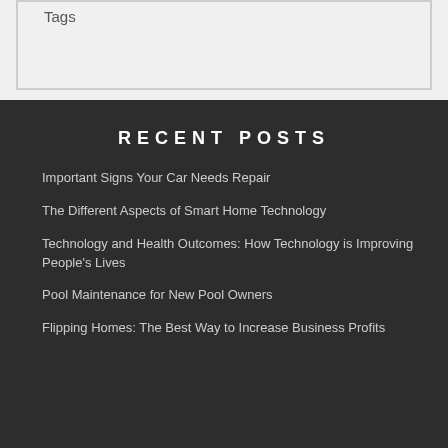Tags
RECENT POSTS
Important Signs Your Car Needs Repair
The Different Aspects of Smart Home Technology
Technology and Health Outcomes: How Technology is Improving People's Lives
Pool Maintenance for New Pool Owners
Flipping Homes: The Best Way to Increase Business Profits